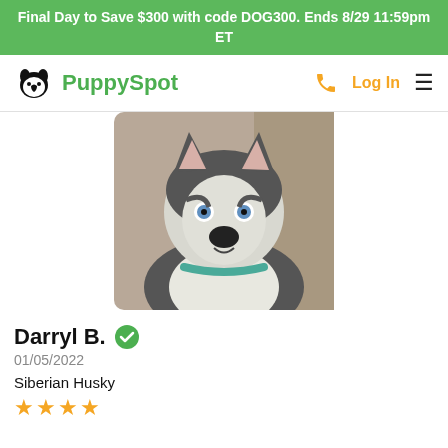Final Day to Save $300 with code DOG300. Ends 8/29 11:59pm ET
[Figure (logo): PuppySpot logo with dog paw/heart icon in black and green text]
Log In
[Figure (photo): Close-up photo of a Siberian Husky puppy with blue eyes, black and white fur, wearing a teal collar, sitting against a tan couch background]
Darryl B.
01/05/2022
Siberian Husky
★★★★